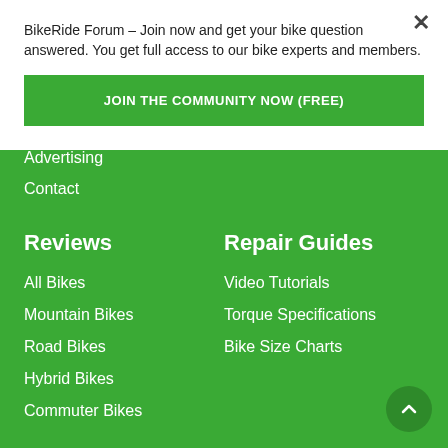BikeRide Forum – Join now and get your bike question answered. You get full access to our bike experts and members.
JOIN THE COMMUNITY NOW (FREE)
Advertising
Contact
Reviews
Repair Guides
All Bikes
Video Tutorials
Mountain Bikes
Torque Specifications
Road Bikes
Bike Size Charts
Hybrid Bikes
Commuter Bikes